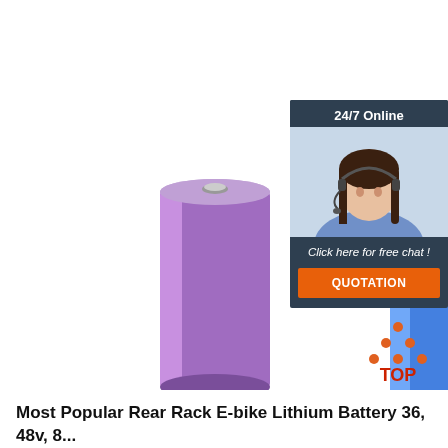[Figure (photo): Two cylindrical lithium battery cells side by side — one purple and one blue — on a white background. The purple battery is on the left and the blue battery is on the right.]
[Figure (infographic): Customer support chat widget showing '24/7 Online' header, photo of a smiling female agent with headset, text 'Click here for free chat!', and an orange 'QUOTATION' button. Dark navy background.]
[Figure (logo): TOP badge logo with orange dot-triangle above the word TOP in red/orange text.]
Most Popular Rear Rack E-bike Lithium Battery 36, 48v, 8...